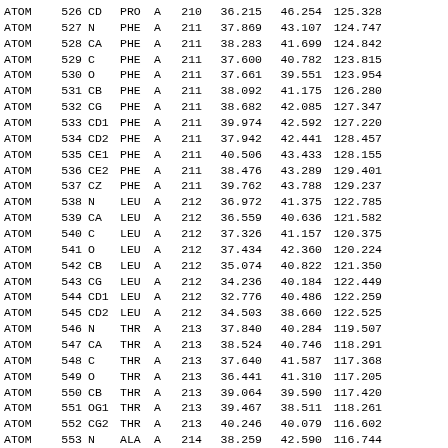| type | serial | name | res | chain | seq | x | y | z |
| --- | --- | --- | --- | --- | --- | --- | --- | --- |
| ATOM | 526 | CD | PRO | A | 210 | 36.215 | 46.254 | 125.328 |
| ATOM | 527 | N | PHE | A | 211 | 37.869 | 43.107 | 124.747 |
| ATOM | 528 | CA | PHE | A | 211 | 38.283 | 41.699 | 124.842 |
| ATOM | 529 | C | PHE | A | 211 | 37.600 | 40.782 | 123.815 |
| ATOM | 530 | O | PHE | A | 211 | 37.661 | 39.551 | 123.954 |
| ATOM | 531 | CB | PHE | A | 211 | 38.092 | 41.175 | 126.280 |
| ATOM | 532 | CG | PHE | A | 211 | 38.682 | 42.085 | 127.347 |
| ATOM | 533 | CD1 | PHE | A | 211 | 39.974 | 42.592 | 127.220 |
| ATOM | 534 | CD2 | PHE | A | 211 | 37.942 | 42.441 | 128.457 |
| ATOM | 535 | CE1 | PHE | A | 211 | 40.506 | 43.433 | 128.155 |
| ATOM | 536 | CE2 | PHE | A | 211 | 38.476 | 43.289 | 129.401 |
| ATOM | 537 | CZ | PHE | A | 211 | 39.762 | 43.788 | 129.237 |
| ATOM | 538 | N | LEU | A | 212 | 36.972 | 41.375 | 122.785 |
| ATOM | 539 | CA | LEU | A | 212 | 36.559 | 40.636 | 121.582 |
| ATOM | 540 | C | LEU | A | 212 | 37.326 | 41.157 | 120.375 |
| ATOM | 541 | O | LEU | A | 212 | 37.434 | 42.360 | 120.224 |
| ATOM | 542 | CB | LEU | A | 212 | 35.074 | 40.822 | 121.350 |
| ATOM | 543 | CG | LEU | A | 212 | 34.236 | 40.184 | 122.449 |
| ATOM | 544 | CD1 | LEU | A | 212 | 32.776 | 40.486 | 122.259 |
| ATOM | 545 | CD2 | LEU | A | 212 | 34.503 | 38.660 | 122.525 |
| ATOM | 546 | N | THR | A | 213 | 37.840 | 40.284 | 119.507 |
| ATOM | 547 | CA | THR | A | 213 | 38.524 | 40.746 | 118.291 |
| ATOM | 548 | C | THR | A | 213 | 37.640 | 41.587 | 117.368 |
| ATOM | 549 | O | THR | A | 213 | 36.441 | 41.310 | 117.205 |
| ATOM | 550 | CB | THR | A | 213 | 39.064 | 39.590 | 117.420 |
| ATOM | 551 | OG1 | THR | A | 213 | 39.467 | 38.511 | 118.261 |
| ATOM | 552 | CG2 | THR | A | 213 | 40.246 | 40.079 | 116.602 |
| ATOM | 553 | N | ALA | A | 214 | 38.259 | 42.590 | 116.744 |
| ATOM | 554 | CA | ALA | A | 214 | 37.539 | 43.573 | 115.930 |
| ATOM | 555 | C | ALA | A | 214 | 37.831 | 43.392 | 114.431 |